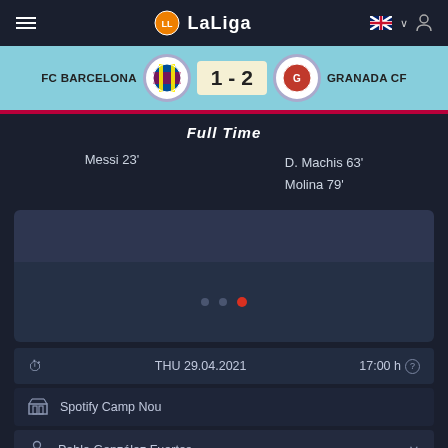Laliga
[Figure (screenshot): Score banner showing FC Barcelona 1-2 Granada CF with team badges]
Full Time
Messi 23'
D. Machis 63'
Molina 79'
[Figure (other): Media carousel with two grey panels and pagination dots (2 inactive, 1 active red dot)]
THU 29.04.2021  17:00 h
Spotify Camp Nou
Pablo González Fuertes